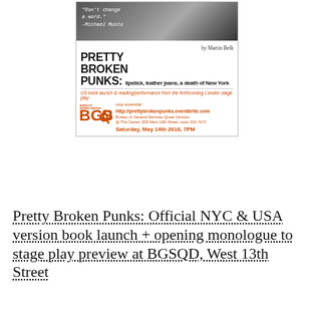[Figure (illustration): Advertisement for 'Pretty Broken Punks: lipstick, leather jeans, a death of New York' by Martin Belk. Shows a photo of two people at top with quote 'Don't change a word.' -Michael Musto, then bold title text, subtitle, and BGSQD venue/event details for Saturday, May 14th 2016, 7PM at The Center, 208 West 13th Street, room 210, NYC.]
Pretty Broken Punks: Official NYC & USA version book launch + opening monologue to stage play preview at BGSQD, West 13th Street